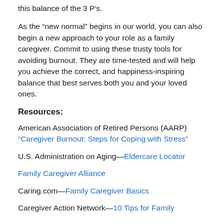this balance of the 3 P's.
As the “new normal” begins in our world, you can also begin a new approach to your role as a family caregiver. Commit to using these trusty tools for avoiding burnout. They are time-tested and will help you achieve the correct, and happiness-inspiring balance that best serves both you and your loved ones.
Resources:
American Association of Retired Persons (AARP) “Caregiver Burnout: Steps for Coping with Stress”
U.S. Administration on Aging—Eldercare Locator
Family Caregiver Alliance
Caring.com—Family Caregiver Basics
Caregiver Action Network—10 Tips for Family